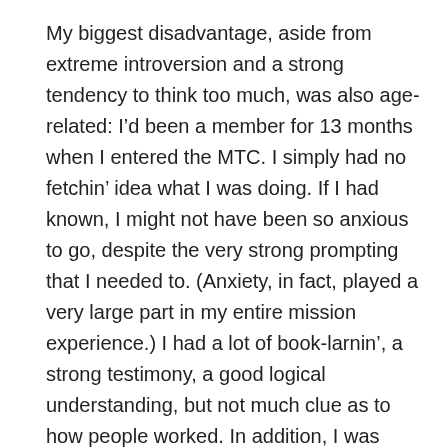My biggest disadvantage, aside from extreme introversion and a strong tendency to think too much, was also age-related: I'd been a member for 13 months when I entered the MTC. I simply had no fetchin' idea what I was doing. If I had known, I might not have been so anxious to go, despite the very strong prompting that I needed to. (Anxiety, in fact, played a very large part in my entire mission experience.) I had a lot of book-larnin', a strong testimony, a good logical understanding, but not much clue as to how people worked. In addition, I was handicapped by having been a pretty “golden” convert – the Church for me turned out to be something I had been looking for, I devoured everything I could find out about it, and candidly, becoming a...